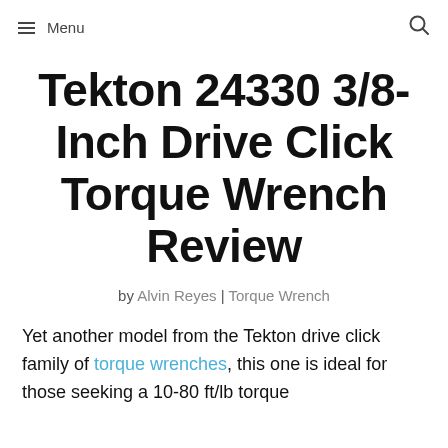☰ Menu | 🔍
Tekton 24330 3/8-Inch Drive Click Torque Wrench Review
by Alvin Reyes | Torque Wrench
Yet another model from the Tekton drive click family of torque wrenches, this one is ideal for those seeking a 10-80 ft/lb torque